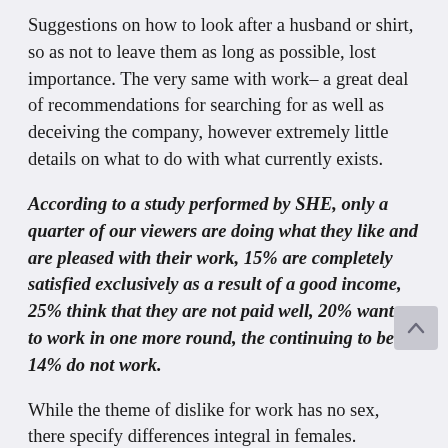Suggestions on how to look after a husband or shirt, so as not to leave them as long as possible, lost importance. The very same with work– a great deal of recommendations for searching for as well as deceiving the company, however extremely little details on what to do with what currently exists.
According to a study performed by SHE, only a quarter of our viewers are doing what they like and are pleased with their work, 15% are completely satisfied exclusively as a result of a good income, 25% think that they are not paid well, 20% wants to work in one more round, the continuing to be 14% do not work.
While the theme of dislike for work has no sex, there specify differences integral in females. "Women, unlike men, do not require promotion," states service specialist Ekaterina Gordeeva. "Men